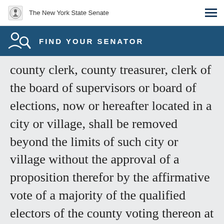The New York State Senate
FIND YOUR SENATOR
county clerk, county treasurer, clerk of the board of supervisors or board of elections, now or hereafter located in a city or village, shall be removed beyond the limits of such city or village without the approval of a proposition therefor by the affirmative vote of a majority of the qualified electors of the county voting thereon at a general or special election. The clerk of the board of